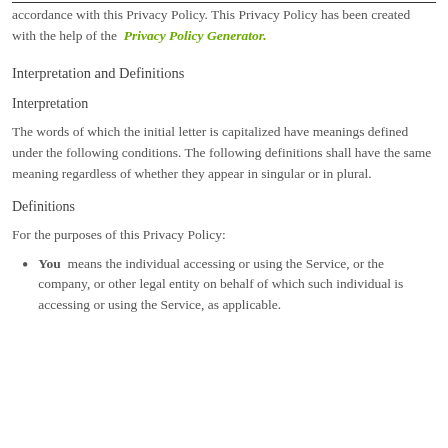accordance with this Privacy Policy. This Privacy Policy has been created with the help of the Privacy Policy Generator.
Interpretation and Definitions
Interpretation
The words of which the initial letter is capitalized have meanings defined under the following conditions. The following definitions shall have the same meaning regardless of whether they appear in singular or in plural.
Definitions
For the purposes of this Privacy Policy:
You  means the individual accessing or using the Service, or the company, or other legal entity on behalf of which such individual is accessing or using the Service, as applicable.